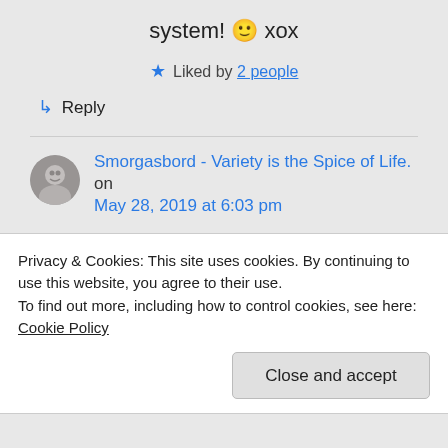system! 🙂 xox
★ Liked by 2 people
↳ Reply
Smorgasbord - Variety is the Spice of Life. on May 28, 2019 at 6:03 pm
It is indeed and the
Privacy & Cookies: This site uses cookies. By continuing to use this website, you agree to their use.
To find out more, including how to control cookies, see here: Cookie Policy
Close and accept